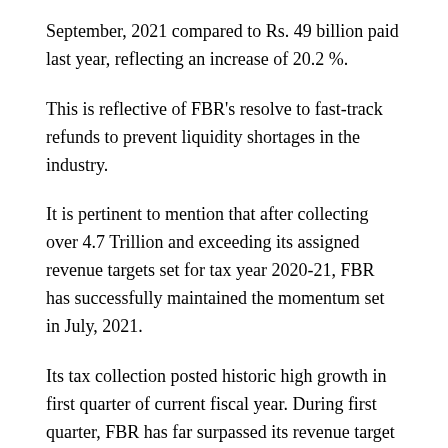September, 2021 compared to Rs. 49 billion paid last year, reflecting an increase of 20.2 %.
This is reflective of FBR’s resolve to fast-track refunds to prevent liquidity shortages in the industry.
It is pertinent to mention that after collecting over 4.7 Trillion and exceeding its assigned revenue targets set for tax year 2020-21, FBR has successfully maintained the momentum set in July, 2021.
Its tax collection posted historic high growth in first quarter of current fiscal year. During first quarter, FBR has far surpassed its revenue target by Rs 186 billion.
This spectacular performance at the outset of the year shows that FBR is well on its way to achieving the assigned target of Rs.